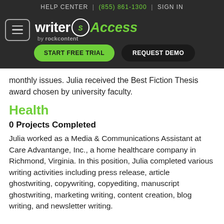HELP CENTER | (855) 861-1300 | SIGN IN
[Figure (logo): WriterAccess by rockcontent logo with hamburger menu, START FREE TRIAL and REQUEST DEMO buttons]
monthly issues. Julia received the Best Fiction Thesis award chosen by university faculty.
Health
0 Projects Completed
Julia worked as a Media & Communications Assistant at Care Advantange, Inc., a home healthcare company in Richmond, Virginia. In this position, Julia completed various writing activities including press release, article ghostwriting, copywriting, copyediting, manuscript ghostwriting, marketing writing, content creation, blog writing, and newsletter writing.